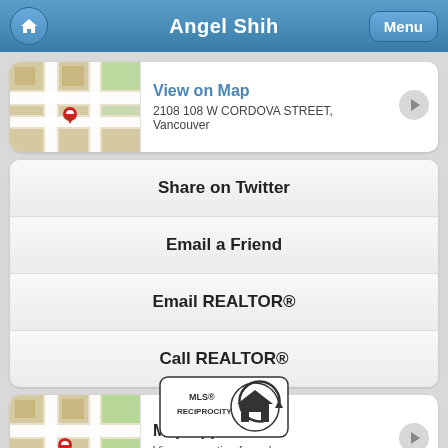Angel Shih
[Figure (screenshot): Map thumbnail showing street map with red location pin]
View on Map
2108 108 W CORDOVA STREET, Vancouver
Share on Twitter
Email a Friend
Email REALTOR®
Call REALTOR®
[Figure (screenshot): Map thumbnail showing street map with red location pin]
Map App
View properties for sale near you on a map
[Figure (logo): MLS® RECIPROCITY logo with house icon]